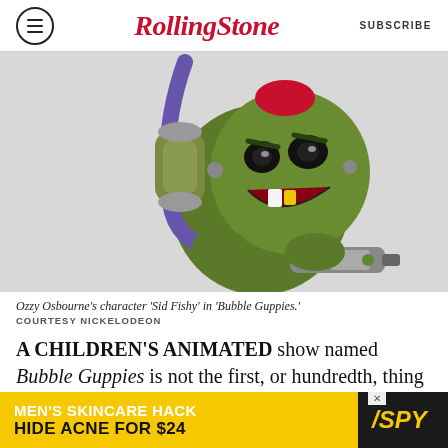RollingStone  SUBSCRIBE
[Figure (illustration): Animated 3D character 'Sid Fishy' — a round green goblin-like creature with a mischievous grin showing a yellow tooth, wearing a blue hose backpack and holding a grey gun-like device.]
Ozzy Osbourne's character 'Sid Fishy' in 'Bubble Guppies.' COURTESY NICKELODEON
A CHILDREN'S ANIMATED show named Bubble Guppies is not the first, or hundredth, thing one would equate with a man who once
[Figure (infographic): Advertisement banner: MEN'S SKINCARE HACK HIDE ACNE FOR $24 / SPY logo]